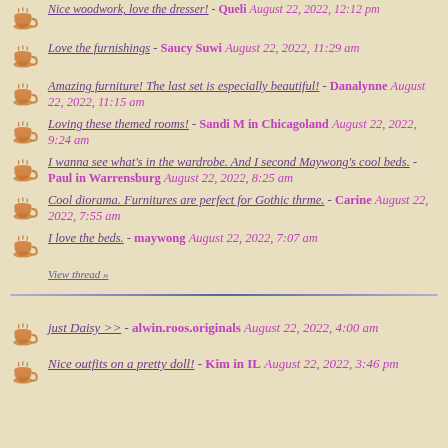Nice woodwork, love the dresser! - Queli August 22, 2022, 12:12 pm
Love the furnishings - Saucy Suwi August 22, 2022, 11:29 am
Amazing furniture! The last set is especially beautiful! - Danalynne August 22, 2022, 11:15 am
Loving these themed rooms! - Sandi M in Chicagoland August 22, 2022, 9:24 am
I wanna see what's in the wardrobe. And I second Maywong's cool beds. - Paul in Warrensburg August 22, 2022, 8:25 am
Cool diorama. Furnitures are perfect for Gothic thrme. - Carine August 22, 2022, 7:55 am
I love the beds. - maywong August 22, 2022, 7:07 am
View thread »
just Daisy >> - alwin.roos.originals August 22, 2022, 4:00 am
Nice outfits on a pretty doll! - Kim in IL August 22, 2022, 3:46 pm